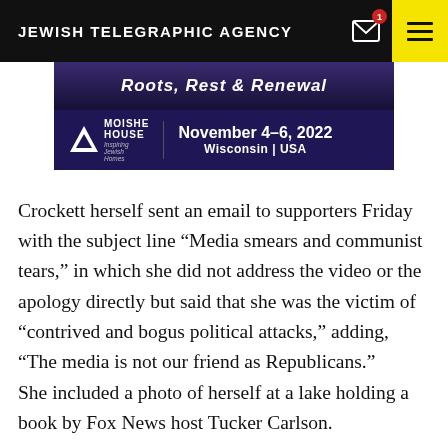JEWISH TELEGRAPHIC AGENCY
[Figure (illustration): Moishe House advertisement banner for 'Roots, Rest & Renewal' event, November 4-6, 2022, Wisconsin | USA]
Crockett herself sent an email to supporters Friday with the subject line “Media smears and communist tears,” in which she did not address the video or the apology directly but said that she was the victim of “contrived and bogus political attacks,” adding, “The media is not our friend as Republicans.”
She included a photo of herself at a lake holding a book by Fox News host Tucker Carlson.